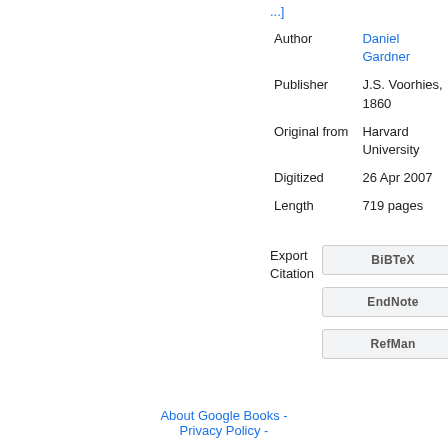...]
| Field | Value |
| --- | --- |
| Author | Daniel Gardner |
| Publisher | J.S. Voorhies, 1860 |
| Original from | Harvard University |
| Digitized | 26 Apr 2007 |
| Length | 719 pages |
Export Citation
BiBTeX
EndNote
RefMan
About Google Books - Privacy Policy -